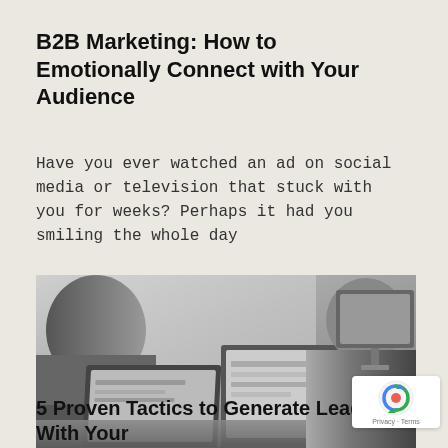B2B Marketing: How to Emotionally Connect with Your Audience
Have you ever watched an ad on social media or television that stuck with you for weeks? Perhaps it had you smiling the whole day
[Figure (photo): Black and white photo of two people sitting at a desk working on laptops, with a monitor visible in the background. Shot from behind/side showing a collaborative office or meeting setting.]
5 Proven Tactics to Generate Leads With Your Content